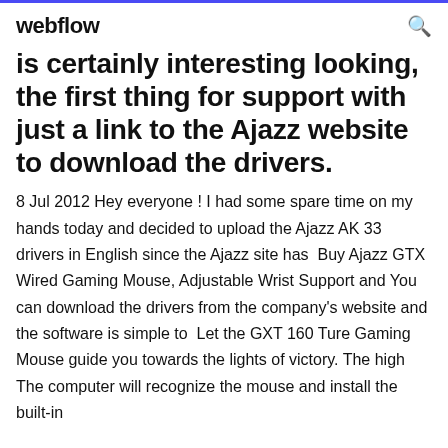webflow
is certainly interesting looking, the first thing for support with just a link to the Ajazz website to download the drivers.
8 Jul 2012 Hey everyone ! I had some spare time on my hands today and decided to upload the Ajazz AK 33 drivers in English since the Ajazz site has  Buy Ajazz GTX Wired Gaming Mouse, Adjustable Wrist Support and You can download the drivers from the company's website and the software is simple to  Let the GXT 160 Ture Gaming Mouse guide you towards the lights of victory. The high The computer will recognize the mouse and install the built-in